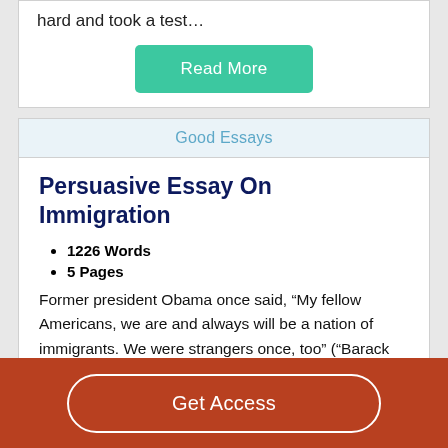hard and took a test…
Read More
Good Essays
Persuasive Essay On Immigration
1226 Words
5 Pages
Former president Obama once said, “My fellow Americans, we are and always will be a nation of immigrants. We were strangers once, too” (“Barack Obama”). This idea of immigration has caused a lot of controversy in the past year.
Get Access